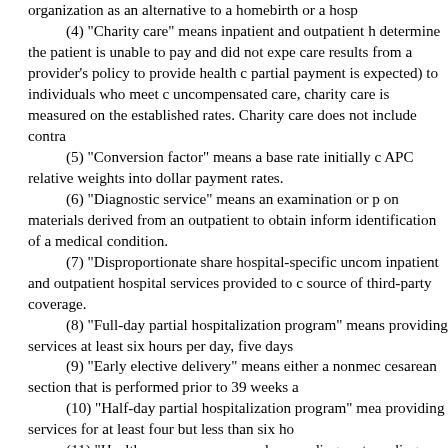organization as an alternative to a homebirth or a hospital birth.
(4) "Charity care" means inpatient and outpatient health care services for which a hospital or provider has determined the patient is unable to pay and did not expect payment, or for which the hospital or provider wrote off all charges because the charity care results from a provider's policy to provide health care services free of charge (or for which only partial payment is expected) to individuals who meet certain financial criteria. For purposes of measuring uncompensated care, charity care is measured on the basis of a provider's costs, not the provider's established rates. Charity care does not include contractual adjustments or bad debt.
(5) "Conversion factor" means a base rate initially determined by the department to convert APC relative weights into dollar payment rates.
(6) "Diagnostic service" means an examination or procedure performed by a hospital on materials derived from an outpatient to obtain information for use in the diagnosis or identification of a medical condition.
(7) "Disproportionate share hospital-specific uncompensated care" means the cost of inpatient and outpatient hospital services provided to charity care patients and patients with no source of third-party coverage.
(8) "Full-day partial hospitalization program" means a structured program providing services at least six hours per day, five days per week.
(9) "Early elective delivery" means either a nonmedically indicated induction of labor or cesarean section that is performed prior to 39 weeks and 0 days of gestation.
(10) "Half-day partial hospitalization program" means a structured program providing services for at least four but less than six hours per day, five days per week.
(11) "Healthcare common procedures coding system" or "HCPCS" means the coding method maintained by the Centers for Medicare and Medicaid Services that incorporates the American Medical Association (AMA) Current Procedural Terminology (CPT) and the three HCPCS unique coding levels.
(12) "ICD-9-CM" means the International Classification of Diseases, 9th Revision, Clinical Modification.